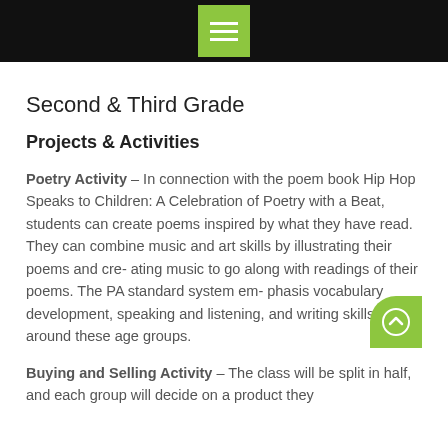[menu icon]
Second & Third Grade
Projects & Activities
Poetry Activity – In connection with the poem book Hip Hop Speaks to Children: A Celebration of Poetry with a Beat, students can create poems inspired by what they have read. They can combine music and art skills by illustrating their poems and cre- ating music to go along with readings of their poems. The PA standard system em- phasis vocabulary development, speaking and listening, and writing skills around these age groups.
Buying and Selling Activity – The class will be split in half, and each group will decide on a product they